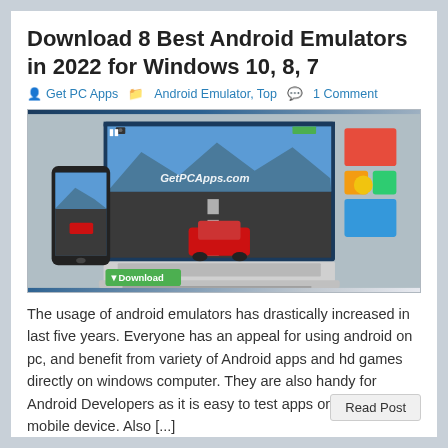Download 8 Best Android Emulators in 2022 for Windows 10, 8, 7
Get PC Apps   Android Emulator, Top   1 Comment
[Figure (photo): Laptop and smartphone showing a racing game (Asphalt-style), with colorful app icons/tiles and a green Download button. Watermark: GetPCApps.com]
The usage of android emulators has drastically increased in last five years. Everyone has an appeal for using android on pc, and benefit from variety of Android apps and hd games directly on windows computer. They are also handy for Android Developers as it is easy to test apps on desktop than mobile device. Also [...]
Read Post